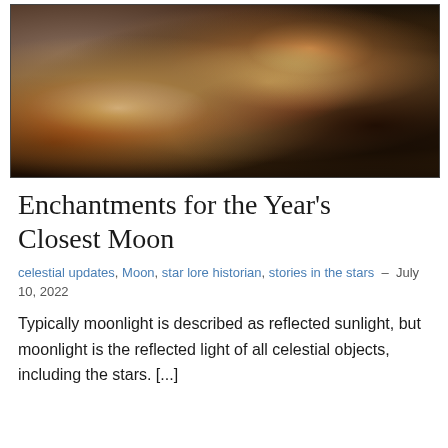[Figure (illustration): A dark classical painting depicting reclining nude figures with wings, rendered in warm earthy tones of brown, gold, and shadow. The figures appear mythological or allegorical in style.]
Enchantments for the Year's Closest Moon
celestial updates, Moon, star lore historian, stories in the stars – July 10, 2022
Typically moonlight is described as reflected sunlight, but moonlight is the reflected light of all celestial objects, including the stars. [...]